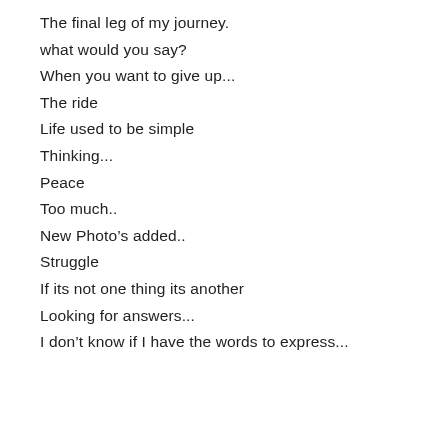The final leg of my journey.
what would you say?
When you want to give up...
The ride
Life used to be simple
Thinking...
Peace
Too much..
New Photo's added..
Struggle
If its not one thing its another
Looking for answers...
I don’t know if I have the words to express...